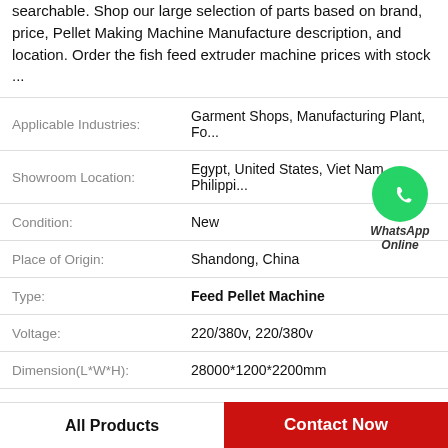searchable. Shop our large selection of parts based on brand, price, Pellet Making Machine Manufacture description, and location. Order the fish feed extruder machine prices with stock ...
| Label | Value |
| --- | --- |
| Applicable Industries: | Garment Shops, Manufacturing Plant, Fo... |
| Showroom Location: | Egypt, United States, Viet Nam, Philippi... |
| Condition: | New |
| Place of Origin: | Shandong, China |
| Type: | Feed Pellet Machine |
| Voltage: | 220/380v, 220/380v |
| Dimension(L*W*H): | 28000*1200*2200mm |
[Figure (logo): WhatsApp Online green phone icon badge with text 'WhatsApp Online']
All Products | Contact Now